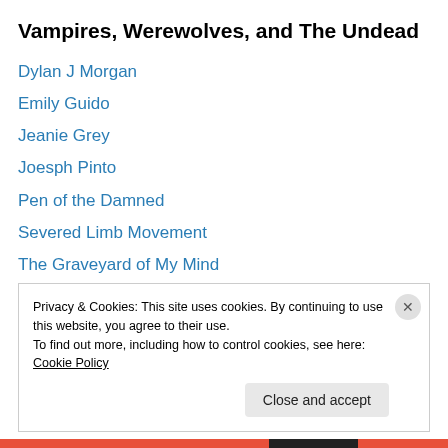Vampires, Werewolves, and The Undead
Dylan J Morgan
Emily Guido
Jeanie Grey
Joesph Pinto
Pen of the Damned
Severed Limb Movement
The Graveyard of My Mind
The Undead Duo
Vampire Maman
Vampire Syndrome
Privacy & Cookies: This site uses cookies. By continuing to use this website, you agree to their use. To find out more, including how to control cookies, see here: Cookie Policy
Close and accept